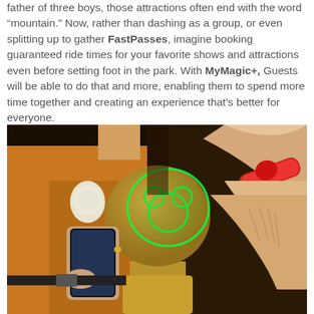father of three boys, those attractions often end with the word “mountain.” Now, rather than dashing as a group, or even splitting up to gather FastPasses, imagine booking guaranteed ride times for your favorite shows and attractions even before setting foot in the park. With MyMagic+, Guests will be able to do that and more, enabling them to spend more time together and creating an experience that's better for everyone.
[Figure (photo): A Disney park cast member in an orange uniform holds a smartphone while a guest taps a red MagicBand wristband against a gold Mickey Mouse-shaped RFID reader post, which glows green around the Mickey icon.]